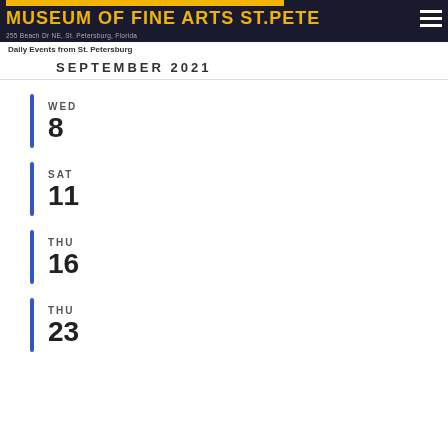MUSEUM OF FINE ARTS ST. PETE
255 Beach Dr NE, St. Petersburg, Florida
Daily Events from St. Petersburg
SEPTEMBER 2021
WED 8
SAT 11
THU 16
THU 23